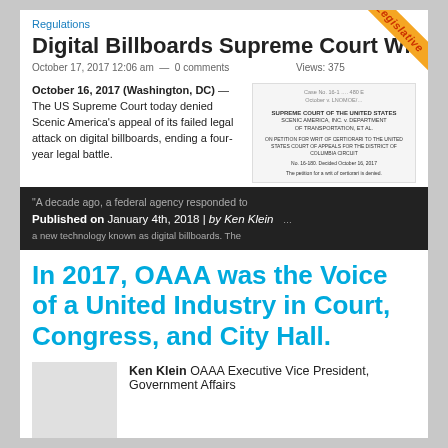Regulations
Digital Billboards Supreme Court Wi...
October 17, 2017 12:06 am — 0 comments    Views: 375
October 16, 2017 (Washington, DC) — The US Supreme Court today denied Scenic America's appeal of its failed legal attack on digital billboards, ending a four-year legal battle.
[Figure (screenshot): Scanned Supreme Court document showing SUPREME COURT OF THE UNITED STATES, SCENIC AMERICA, INC. v. DEPARTMENT OF TRANSPORTATION, ET AL.]
Published on January 4th, 2018 | by Ken Klein
In 2017, OAAA was the Voice of a United Industry in Court, Congress, and City Hall.
Ken Klein OAAA Executive Vice President, Government Affairs
[Figure (photo): Author photo placeholder — gray box]
Social sharing buttons: Facebook, Twitter, LinkedIn